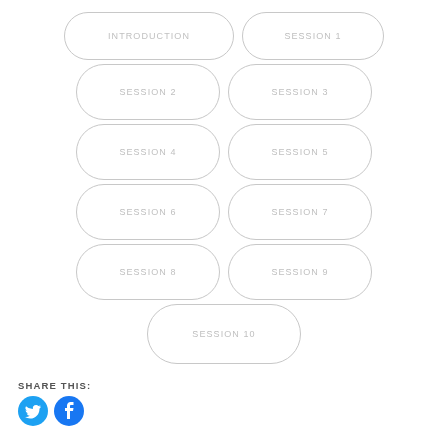INTRODUCTION
SESSION 1
SESSION 2
SESSION 3
SESSION 4
SESSION 5
SESSION 6
SESSION 7
SESSION 8
SESSION 9
SESSION 10
SHARE THIS:
[Figure (illustration): Twitter and Facebook social share icons]